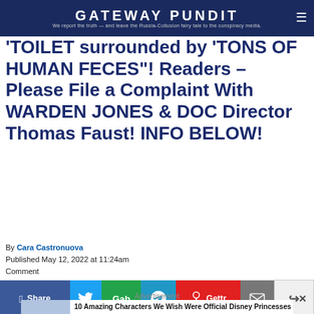GATEWAY PUNDIT — We report the truth — and leave the Russia-Collusion fairy tale to the conspiracy media.
'TOILET surrounded by 'TONS OF HUMAN FECES'! Readers – Please File a Complaint With WARDEN JONES & DOC Director Thomas Faust! INFO BELOW!
By Cara Castronuova
Published May 12, 2022 at 11:24am
Comment
[Figure (infographic): Social share buttons row: Facebook Share, Twitter, Gab, Telegram, Gettr, Email, Share icons. Close X button on right.]
Advertisement
[Figure (photo): Animated character image on left side of advertisement block with text '10 Amazing Characters We Wish Were Official Disney Princesses']